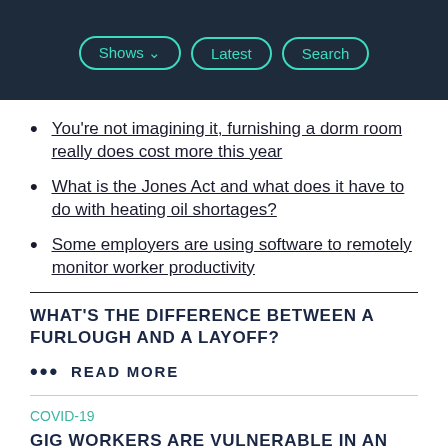Shows | Latest | Search
You're not imagining it, furnishing a dorm room really does cost more this year
What is the Jones Act and what does it have to do with heating oil shortages?
Some employers are using software to remotely monitor worker productivity
WHAT'S THE DIFFERENCE BETWEEN A FURLOUGH AND A LAYOFF?
••• READ MORE
COVID-19
GIG WORKERS ARE VULNERABLE IN AN OUTBREAK